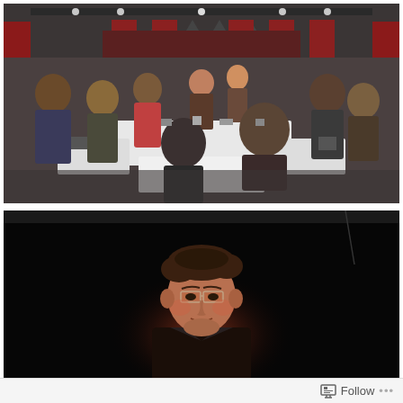[Figure (photo): Interior photo of an event hall or venue with people seated at tables, red-accented walls, stage lighting rigs on the ceiling, and a stage visible in the background. The room is filled with attendees, possibly at a convention or gala event.]
[Figure (photo): A man with glasses and disheveled hair, lit by reddish stage lighting, against a very dark/black background, appearing to be on a stage or in a darkened room, looking upward with mouth slightly open.]
Follow